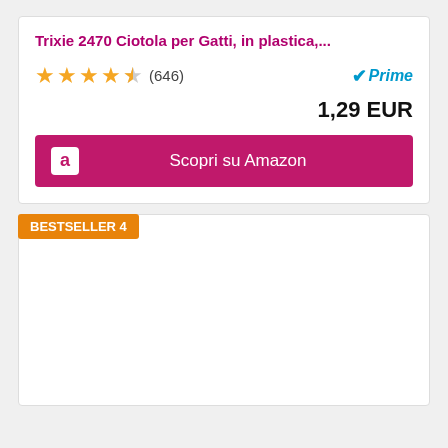Trixie 2470 Ciotola per Gatti, in plastica,...
★★★★☆ (646)
Prime
1,29 EUR
Scopri su Amazon
BESTSELLER 4